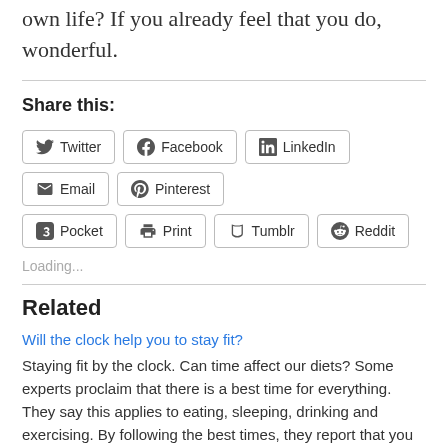own life? If you already feel that you do, wonderful.
Share this:
[Figure (other): Social sharing buttons: Twitter, Facebook, LinkedIn, Email, Pinterest, Pocket, Print, Tumblr, Reddit]
Loading...
Related
Will the clock help you to stay fit?
Staying fit by the clock. Can time affect our diets? Some experts proclaim that there is a best time for everything. They say this applies to eating, sleeping, drinking and exercising. By following the best times, they report that you can stay healthier and happier. Staying fit by the clock.